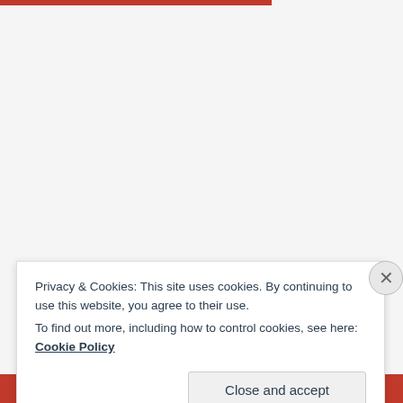[Figure (screenshot): Red horizontal bar at top of page, partial website header]
Privacy & Cookies: This site uses cookies. By continuing to use this website, you agree to their use.
To find out more, including how to control cookies, see here: Cookie Policy
[Figure (screenshot): Bottom strip showing DuckDuckGo branding in dark box on red background]